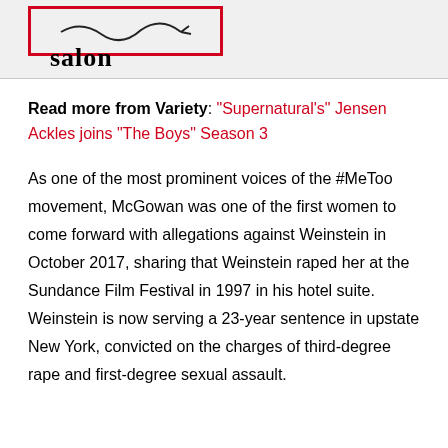[Figure (logo): Salon logo in red-bordered box with 'salon' text in bold serif font below]
Read more from Variety: "Supernatural's" Jensen Ackles joins "The Boys" Season 3
As one of the most prominent voices of the #MeToo movement, McGowan was one of the first women to come forward with allegations against Weinstein in October 2017, sharing that Weinstein raped her at the Sundance Film Festival in 1997 in his hotel suite. Weinstein is now serving a 23-year sentence in upstate New York, convicted on the charges of third-degree rape and first-degree sexual assault.